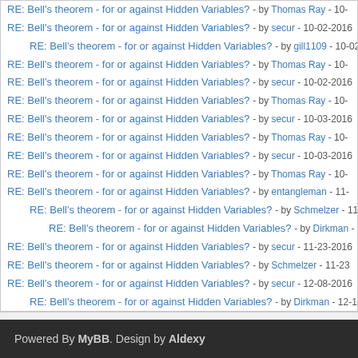RE: Bell's theorem - for or against Hidden Variables? - by Thomas Ray - 10-
RE: Bell's theorem - for or against Hidden Variables? - by secur - 10-02-2016
RE: Bell's theorem - for or against Hidden Variables? - by gill1109 - 10-02
RE: Bell's theorem - for or against Hidden Variables? - by Thomas Ray - 10-
RE: Bell's theorem - for or against Hidden Variables? - by secur - 10-02-2016
RE: Bell's theorem - for or against Hidden Variables? - by Thomas Ray - 10-
RE: Bell's theorem - for or against Hidden Variables? - by secur - 10-03-2016
RE: Bell's theorem - for or against Hidden Variables? - by Thomas Ray - 10-
RE: Bell's theorem - for or against Hidden Variables? - by secur - 10-03-2016
RE: Bell's theorem - for or against Hidden Variables? - by Thomas Ray - 10-
RE: Bell's theorem - for or against Hidden Variables? - by entangleman - 11-
RE: Bell's theorem - for or against Hidden Variables? - by Schmelzer - 11-
RE: Bell's theorem - for or against Hidden Variables? - by Dirkman - 12
RE: Bell's theorem - for or against Hidden Variables? - by secur - 11-23-2016
RE: Bell's theorem - for or against Hidden Variables? - by Schmelzer - 11-23
RE: Bell's theorem - for or against Hidden Variables? - by secur - 12-08-2016
RE: Bell's theorem - for or against Hidden Variables? - by Dirkman - 12-15
View a Printable Version
Forum Jump: --
Users browsing this thread: 34 Guest(s)
Powered By MyBB. Design by Aldexy